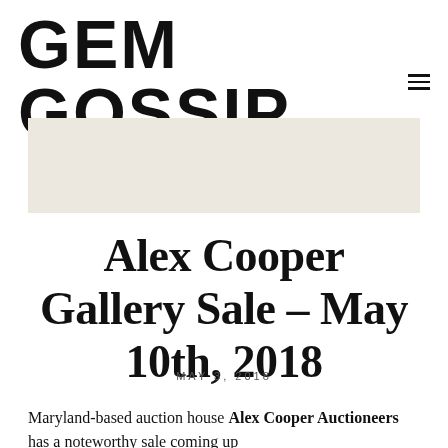GEM GOSSIP
[Figure (photo): Beige/cream colored banner image placeholder]
Alex Cooper Gallery Sale – May 10th, 2018
MAY 3, 2018
Maryland-based auction house Alex Cooper Auctioneers has a noteworthy sale coming up